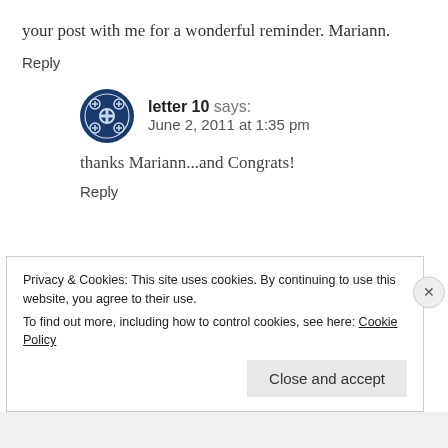your post with me for a wonderful reminder. Mariann.
Reply
letter 10 says:
June 2, 2011 at 1:35 pm
thanks Mariann...and Congrats!
Reply
Privacy & Cookies: This site uses cookies. By continuing to use this website, you agree to their use.
To find out more, including how to control cookies, see here: Cookie Policy
Close and accept